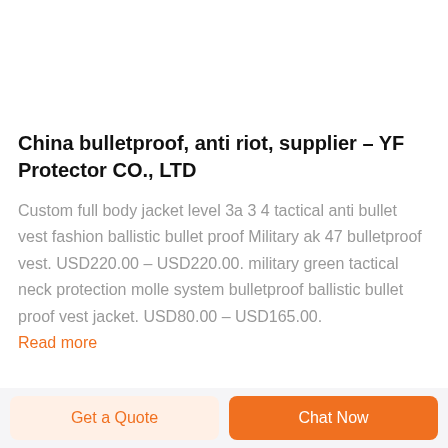China bulletproof, anti riot, supplier – YF Protector CO., LTD
Custom full body jacket level 3a 3 4 tactical anti bullet vest fashion ballistic bullet proof Military ak 47 bulletproof vest. USD220.00 – USD220.00. military green tactical neck protection molle system bulletproof ballistic bullet proof vest jacket. USD80.00 – USD165.00.
Read more
Get a Quote | Chat Now